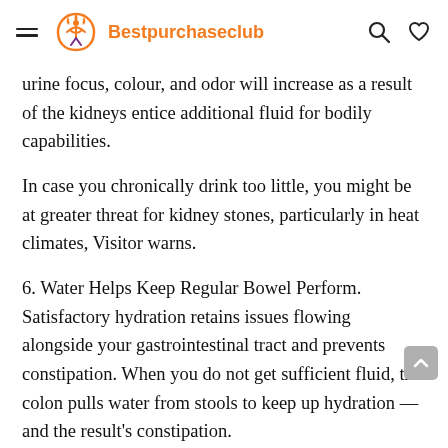Bestpurchaseclub
urine focus, colour, and odor will increase as a result of the kidneys entice additional fluid for bodily capabilities.
In case you chronically drink too little, you might be at greater threat for kidney stones, particularly in heat climates, Visitor warns.
6. Water Helps Keep Regular Bowel Perform.
Satisfactory hydration retains issues flowing alongside your gastrointestinal tract and prevents constipation. When you do not get sufficient fluid, the colon pulls water from stools to keep up hydration — and the result's constipation.